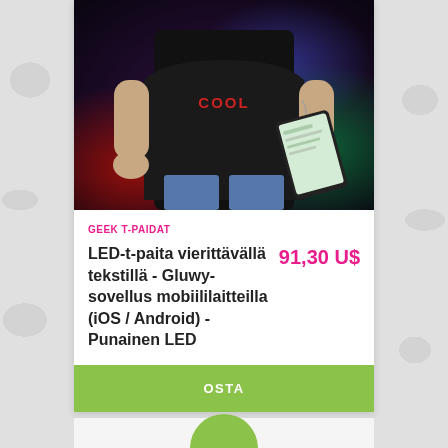[Figure (photo): Man wearing a black COOL t-shirt holding a tablet device, in a dark colorful background]
GEEK T-PAIDAT
LED-t-paita vierittävällä tekstillä - Gluwy-sovellus mobiililaitteilla (iOS / Android) - Punainen LED
91,30 U$
OSTA